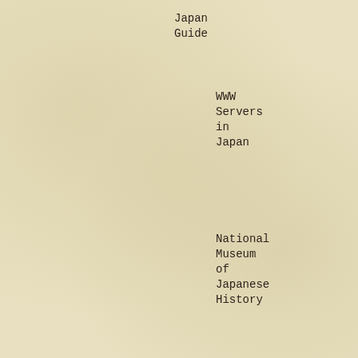Japan Guide
WWW Servers in Japan
National Museum of Japanese History
Korean links - Virtual Library
Korea WWW Links
Finder for WWW Sites in